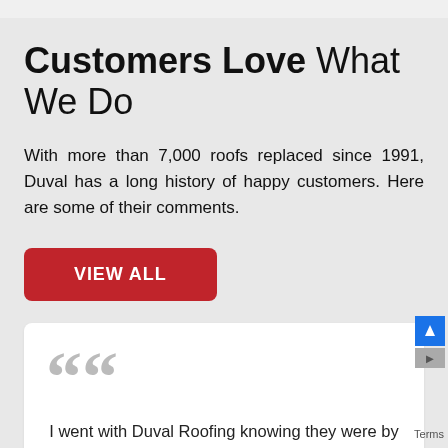Customers Love What We Do
With more than 7,000 roofs replaced since 1991, Duval has a long history of happy customers. Here are some of their comments.
VIEW ALL
I went with Duval Roofing knowing they were by far the most qualified and reputable roofers